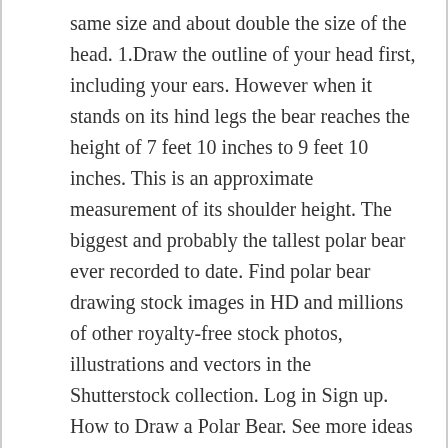same size and about double the size of the head. 1.Draw the outline of your head first, including your ears. However when it stands on its hind legs the bear reaches the height of 7 feet 10 inches to 9 feet 10 inches. This is an approximate measurement of its shoulder height. The biggest and probably the tallest polar bear ever recorded to date. Find polar bear drawing stock images in HD and millions of other royalty-free stock photos, illustrations and vectors in the Shutterstock collection. Log in Sign up. How to Draw a Polar Bear. See more ideas about bear template, bear tattoos, bear tattoo. In this tutorial, weâll take a look at how to draw a polar bear. Step 1: Draw a circle on the top part of the page as a guide for the grizzly bear's head. Step 2: Draw two intersecting lines inside the head to help you place the bear's facial features later on. May 5,